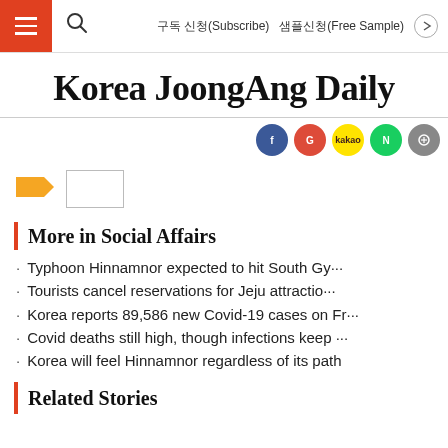구독 신청(Subscribe)   샘플신청(Free Sample)
Korea JoongAng Daily
[Figure (other): Social sharing icons (Facebook, Google, Kakao, Naver, etc.) row]
[Figure (other): Orange tag icon and small empty label box]
More in Social Affairs
Typhoon Hinnamnor expected to hit South Gy…
Tourists cancel reservations for Jeju attractio…
Korea reports 89,586 new Covid-19 cases on Fr…
Covid deaths still high, though infections keep …
Korea will feel Hinnamnor regardless of its path
Related Stories